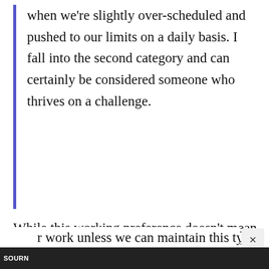when we're slightly over-scheduled and pushed to our limits on a daily basis. I fall into the second category and can certainly be considered someone who thrives on a challenge.
While this working preference doesn't mean that I don't also enjoy occasional slow days and a lighter schedule, it does mean that I typically tend to have a very structured schedule with a lot to get done and specific/measurable results. It can be difficult for people like me to stay engaged and excited by r work unless we can maintain this type of
sourn